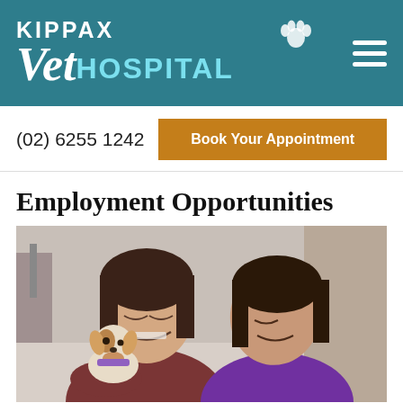[Figure (logo): Kippax Vet Hospital logo on teal background with paw print icon and hamburger menu icon]
(02) 6255 1242
Book Your Appointment
Employment Opportunities
[Figure (photo): Two women smiling and cuddling a small puppy with a purple collar in a veterinary clinic setting]